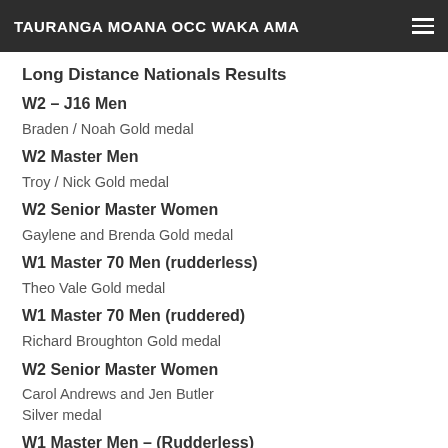TAURANGA MOANA OCC WAKA AMA
Long Distance Nationals Results
W2 – J16 Men
Braden / Noah Gold medal
W2 Master Men
Troy / Nick Gold medal
W2 Senior Master Women
Gaylene and Brenda Gold medal
W1 Master 70 Men (rudderless)
Theo Vale Gold medal
W1 Master 70 Men (ruddered)
Richard Broughton Gold medal
W2 Senior Master Women
Carol Andrews and Jen Butler Silver medal
W1 Master Men – (Rudderless)
Craig Fenwick Bronze medal
W6 Master Men